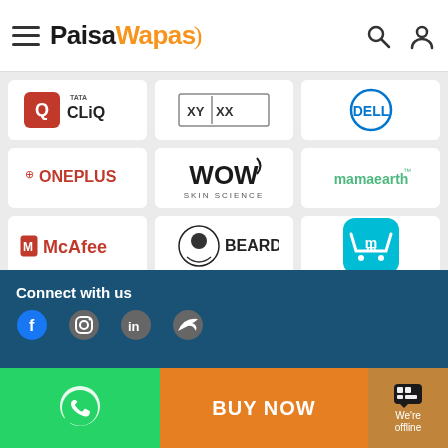PaisaWapas.com
[Figure (logo): Tata CLiQ logo]
[Figure (logo): XYXX logo]
[Figure (logo): Dell logo]
[Figure (logo): OnePlus logo]
[Figure (logo): WOW Skin Science logo]
[Figure (logo): mamaearth logo]
[Figure (logo): McAfee logo]
[Figure (logo): Beardo logo]
[Figure (logo): Meesho logo]
[Figure (logo): DaMENSCH logo]
[Figure (logo): pure sense logo]
[Figure (logo): Coco Soul logo]
[Figure (logo): MediBuddy Gold logo]
[Figure (logo): boAt logo]
[Figure (logo): Zivame logo]
Connect with us
BUY NOW
We're offline